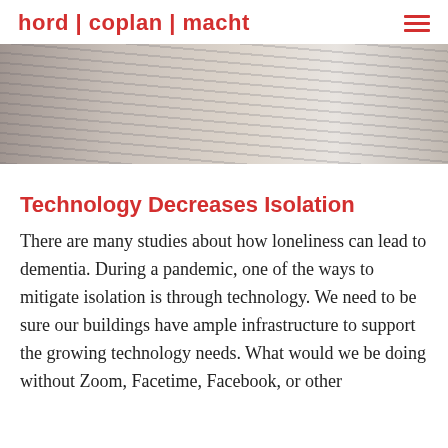hord | coplan | macht
[Figure (photo): Two people seated on a couch, wearing casual clothing; one in a striped top and one in a white knit sweater, with pillows visible in the background.]
Technology Decreases Isolation
There are many studies about how loneliness can lead to dementia. During a pandemic, one of the ways to mitigate isolation is through technology. We need to be sure our buildings have ample infrastructure to support the growing technology needs. What would we be doing without Zoom, Facetime, Facebook, or other